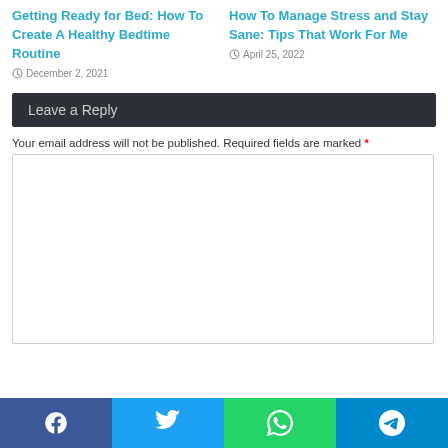Getting Ready for Bed: How To Create A Healthy Bedtime Routine
December 2, 2021
How To Manage Stress and Stay Sane: Tips That Work For Me
April 25, 2022
Leave a Reply
Your email address will not be published. Required fields are marked *